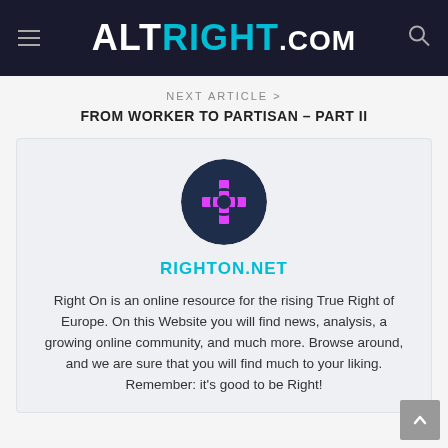ALTRIGHT.COM
NEXT ARTICLE >
FROM WORKER TO PARTISAN – PART II
[Figure (logo): Circular logo with dark navy background and magenta/pink crosshair or target symbol in the center]
RIGHTON.NET
Right On is an online resource for the rising True Right of Europe. On this Website you will find news, analysis, a growing online community, and much more. Browse around, and we are sure that you will find much to your liking. Remember: it's good to be Right!